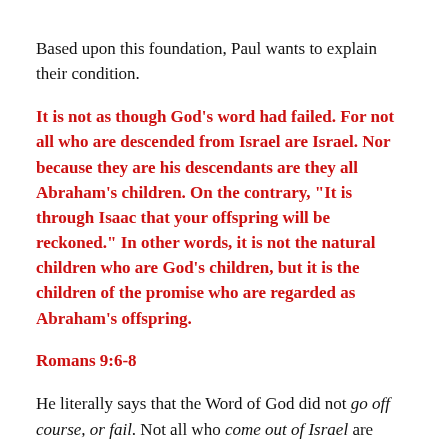Based upon this foundation, Paul wants to explain their condition.
It is not as though God’s word had failed. For not all who are descended from Israel are Israel. Nor because they are his descendants are they all Abraham’s children. On the contrary, “It is through Isaac that your offspring will be reckoned.” In other words, it is not the natural children who are God’s children, but it is the children of the promise who are regarded as Abraham’s offspring.
Romans 9:6-8
He literally says that the Word of God did not go off course, or fail. Not all who come out of Israel are Israel. What he’s saying is that in God’s eyes, Israel is not merely